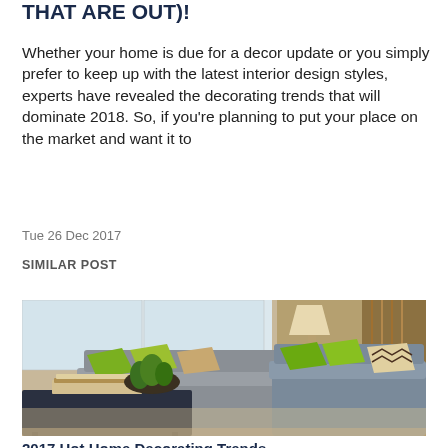THAT ARE OUT)!
Whether your home is due for a decor update or you simply prefer to keep up with the latest interior design styles, experts have revealed the decorating trends that will dominate 2018. So, if you're planning to put your place on the market and want it to
Tue 26 Dec 2017
SIMILAR POST
[Figure (photo): Living room interior with two grey sofas, green and patterned throw pillows, a dark coffee table with books, and bright windows in background]
2017 Hot Home Decorating Trends